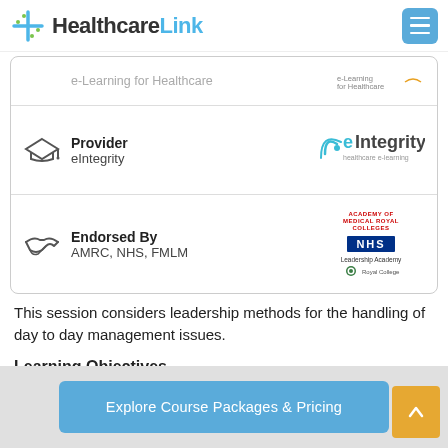HealthcareLink
| Icon | Label | Logo |
| --- | --- | --- |
| [e-learning icon] | e-Learning for Healthcare | [e-Learning for Healthcare logo] |
| [graduation cap] | Provider
eIntegrity | [eIntegrity logo] |
| [handshake] | Endorsed By
AMRC, NHS, FMLM | [AMRC NHS FMLM logos] |
This session considers leadership methods for the handling of day to day management issues.
Learning Objectives
By the end of this session you will be able to...